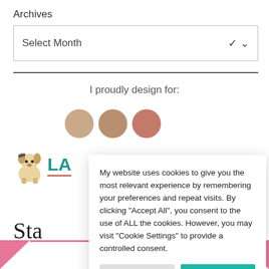Archives
[Figure (screenshot): Select Month dropdown box]
I proudly design for:
[Figure (illustration): Circular avatar icons row partially visible]
[Figure (logo): Partial logo with cartoon French bulldog and teal text LA]
Sta
[Figure (illustration): Pink triangular banner at bottom with portrait circle]
My website uses cookies to give you the most relevant experience by remembering your preferences and repeat visits. By clicking "Accept All", you consent to the use of ALL the cookies. However, you may visit "Cookie Settings" to provide a controlled consent.